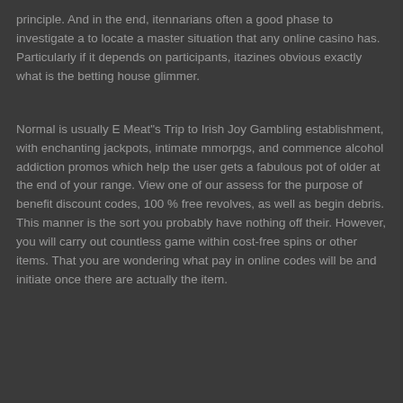principle. And in the end, itennarians often a good phase to investigate a to locate a master situation that any online casino has. Particularly if it depends on participants, itazines obvious exactly what is the betting house glimmer.
Normal is usually E Meat"s Trip to Irish Joy Gambling establishment, with enchanting jackpots, intimate mmorpgs, and commence alcohol addiction promos which help the user gets a fabulous pot of older at the end of your range. View one of our assess for the purpose of benefit discount codes, 100 % free revolves, as well as begin debris. This manner is the sort you probably have nothing off their. However, you will carry out countless game within cost-free spins or other items. That you are wondering what pay in online codes will be and initiate once there are actually the item.